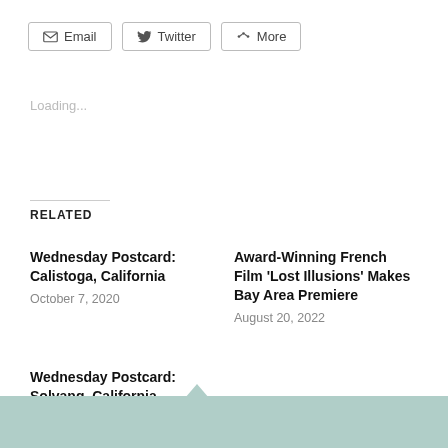[Figure (other): Share buttons row: Email, Twitter, More]
Loading...
Related
Wednesday Postcard: Calistoga, California
October 7, 2020
Award-Winning French Film ‘Lost Illusions’ Makes Bay Area Premiere
August 20, 2022
Wednesday Postcard: Solvang, California
July 17, 2019